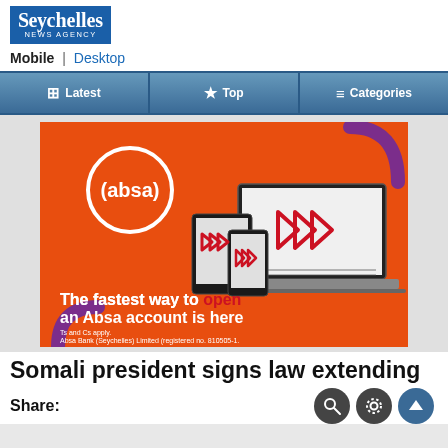[Figure (logo): Seychelles News Agency logo - blue box with white text]
Mobile | Desktop
Latest | Top | Categories navigation bar
[Figure (advertisement): Absa Bank advertisement on orange background showing laptop and mobile devices with text: The fastest way to open an Absa account is here. Ts and Cs apply. Absa Bank (Seychelles) Limited (registered no. 810505-1.]
Somali president signs law extending
Share: